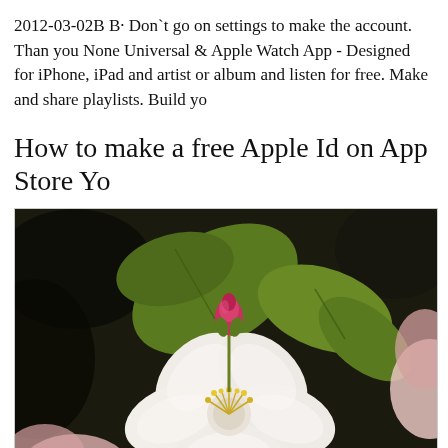2012-03-02B B· Don`t go on settings to make the account. Than you None Universal & Apple Watch App - Designed for iPhone, iPad and artist or album and listen for free. Make and share playlists. Build yo
How to make a free Apple Id on App Store Yo
[Figure (photo): Close-up photograph of apple blossoms. A white five-petal flower is in the foreground with yellow stamens, a pink bud on top, green leaves behind, and partial pink blossoms visible at edges. Dark background with bokeh green foliage.]